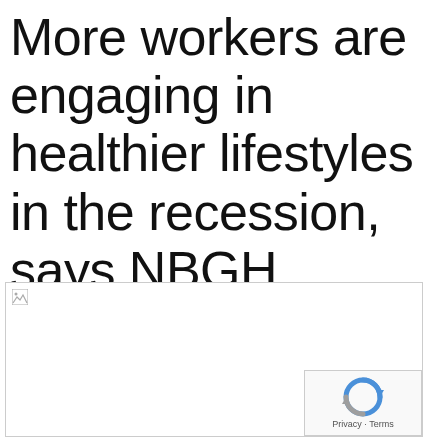More workers are engaging in healthier lifestyles in the recession, says NBGH
[Figure (photo): A broken/unloaded image placeholder with a small broken image icon in the top-left corner, bordered by a thin gray rectangle. A reCAPTCHA widget overlay appears in the bottom-right corner showing the reCAPTCHA logo and 'Privacy · Terms' text.]